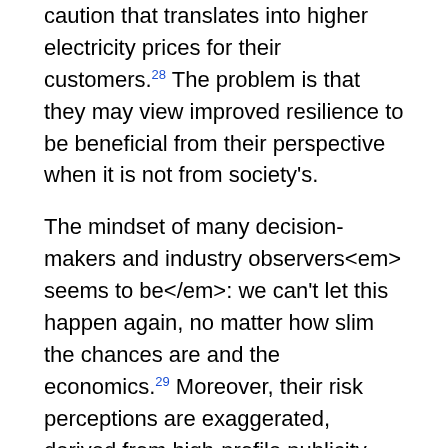caution that translates into higher electricity prices for their customers.28 The problem is that they may view improved resilience to be beneficial from their perspective when it is not from society's.
The mindset of many decision-makers and industry observers<em> seems to be</em>: we can't let this happen again, no matter how slim the chances are and the economics.29 Moreover, their risk perceptions are exaggerated, derived from high-profile publicity given to such events. The policy discourse over electric power resilience exemplifies this flawed thinking.
Prudent decisions on resilience require consideration of the probability of events, whether calculated objectively with historical data or determined subjectively. Assessing the economics of improved resilience should account for